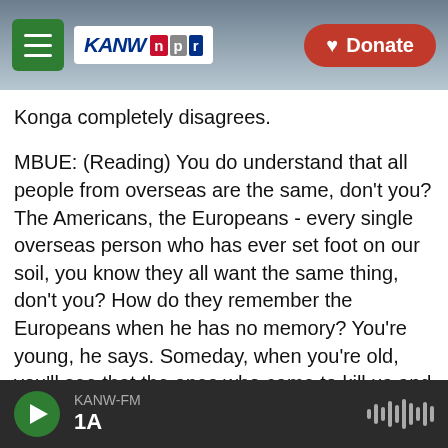KANW NPR — Donate
Konga completely disagrees.
MBUE: (Reading) You do understand that all people from overseas are the same, don't you? The Americans, the Europeans - every single overseas person who has ever set foot on our soil, you know they all want the same thing, don't you? How do they remember the Europeans when he has no memory? You're young, he says. Someday, when you're old, you'll see that the ones who came to kill us and the ones who will want to save us are the same. No matter their pretenses, they all arrive here believing they have the power to take from us
KANW-FM | 1A